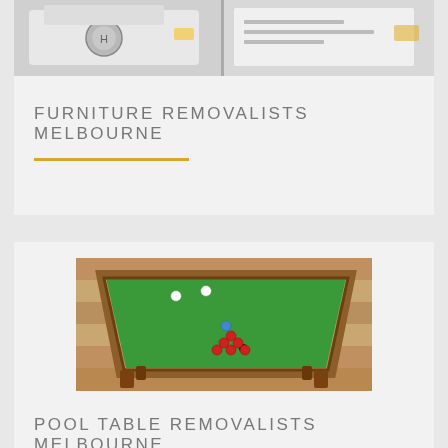[Figure (photo): Two white trucks/vans visible through windshields and front grilles, divided in two panels]
FURNITURE REMOVALISTS MELBOURNE
[Figure (photo): Green felt-covered pool/snooker table with red balls racked in triangle formation, wooden legs, viewed from above at an angle]
POOL TABLE REMOVALISTS MELBOURNE